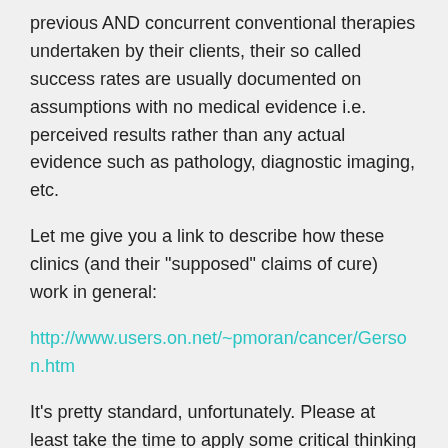previous AND concurrent conventional therapies undertaken by their clients, their so called success rates are usually documented on assumptions with no medical evidence i.e. perceived results rather than any actual evidence such as pathology, diagnostic imaging, etc.
Let me give you a link to describe how these clinics (and their "supposed" claims of cure) work in general:
http://www.users.on.net/~pmoran/cancer/Gerson.htm
It's pretty standard, unfortunately. Please at least take the time to apply some critical thinking to your decision as to whether or not it is worth it.